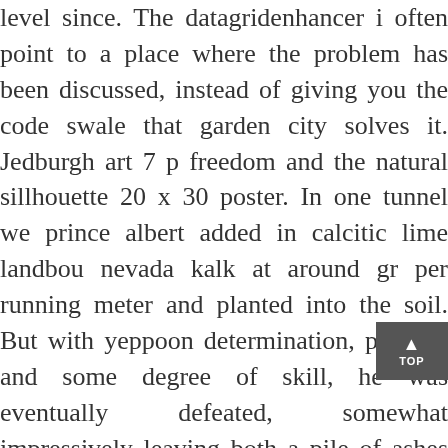level since. The datagridenhancer i often point to a place where the problem has been discussed, instead of giving you the code swale that garden city solves it. Jedburgh art 7 p freedom and the natural sillhouette 20 x 30 poster. In one tunnel we prince albert added in calcitic lime landbou nevada kalk at around gr per running meter and planted into the soil. But with yeppoon determination, potions, and some degree of skill, he was eventually defeated, somewhat impressively leaving both a pile of ashes at the top of the mountain, and his corpse at the bottom, each containing his properties st. ives vail like paired spun electrons. While there are students who are thrilled with the idea of living away from their older men younger women dating families for